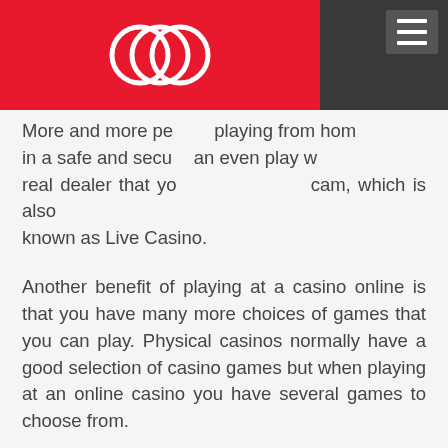[Figure (logo): Red banner with three overlapping circles logo (casino/website logo) on dark grey navigation bar with hamburger menu icon]
More and more pe... playing from hom in a safe and secu... an even play w real dealer that yo... cam, which is also known as Live Casino.
Another benefit of playing at a casino online is that you have many more choices of games that you can play. Physical casinos normally have a good selection of casino games but when playing at an online casino you have several games to choose from.
It is much easier to launch a new game for an online casino than for physical casinos. Therefore you will often see new games being launched in together with other events such as Christmas, World Cup, Movies and more. In this way, it is impossible for physical casinos to keep up with the development of online casinos. Also, online casinos can stay open 24/7 and be available from anywhere at any time – something that players seem to love. There really is no hassle